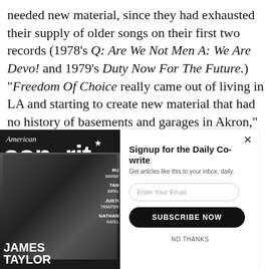needed new material, since they had exhausted their supply of older songs on their first two records (1978's Q: Are We Not Men A: We Are Devo! and 1979's Duty Now For The Future.) "Freedom Of Choice really came out of living in LA and starting to create new material that had no history of basements and garages in Akron," Casale remembers. "The first two records
[Figure (photo): American Songwriter magazine cover featuring James Taylor seated, wearing a dark jacket and flat cap, against a dark background. Cover shows partial masthead 'American Songwriter' and text including RU, WAINW, TAN, IMPAL, JUSTI, TRANTER, NATHAN, RATEL, and JAMES TAYLOR at bottom left.]
[Figure (screenshot): Signup popup overlay for 'Daily Co-write' newsletter. Contains close X button, heading 'Signup for the Daily Co-write', subtext 'Get articles like this to your inbox, daily.', email input field with placeholder 'Enter Your Email', black 'SUBSCRIBE NOW' button, and 'NO THANKS' link.]